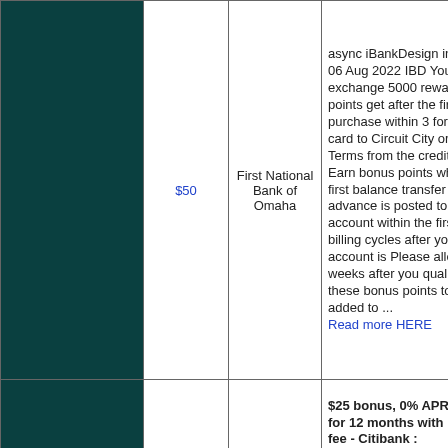| (hidden) | Price | Bank | Description | Status |
| --- | --- | --- | --- | --- |
|  | $50 | First National Bank of Omaha | async iBankDesign in post 06 Aug 2022 IBD You can exchange 5000 reward points get after the first purchase within 3 for a gift card to Circuit City or other Terms from the credit card Earn bonus points when the first balance transfer or cash advance is posted to your account within the first 3 billing cycles after your account is Please allow weeks after you qualify for these bonus points to be added to ... Read more HERE | unknown |
|  |  |  | $25 bonus, 0% APR on BT for 12 months with no BT fee - Citibank : |  |